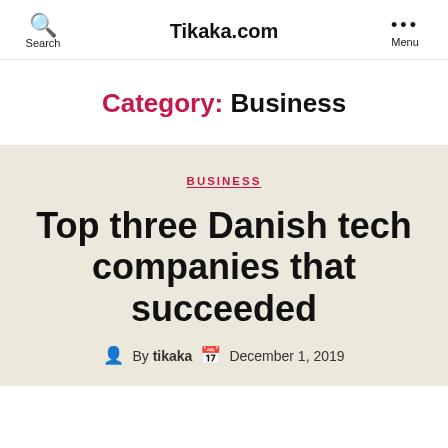Tikaka.com
Category: Business
BUSINESS
Top three Danish tech companies that succeeded
By tikaka   December 1, 2019